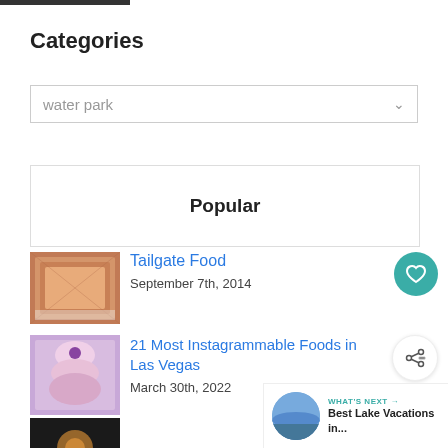Categories
water park
Popular
[Figure (photo): Thumbnail of tailgate food dish]
Tailgate Food
September 7th, 2014
[Figure (photo): Thumbnail of instagrammable food in Las Vegas]
21 Most Instagrammable Foods in Las Vegas
March 30th, 2022
[Figure (photo): Thumbnail of lake vacation]